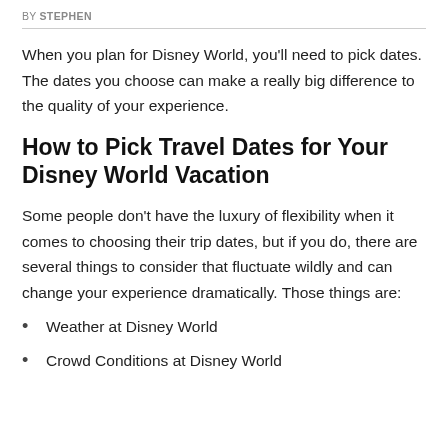BY STEPHEN
When you plan for Disney World, you'll need to pick dates. The dates you choose can make a really big difference to the quality of your experience.
How to Pick Travel Dates for Your Disney World Vacation
Some people don't have the luxury of flexibility when it comes to choosing their trip dates, but if you do, there are several things to consider that fluctuate wildly and can change your experience dramatically. Those things are:
Weather at Disney World
Crowd Conditions at Disney World